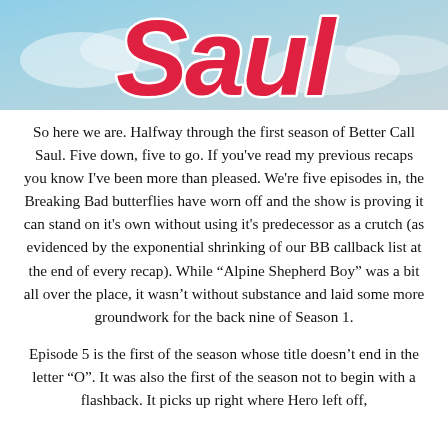[Figure (illustration): Top portion of a TV show title graphic showing stylized cursive pink/red script text on a light blue/grey cloudy sky background. The visible text appears to be part of 'Saul' from 'Better Call Saul'.]
So here we are. Halfway through the first season of Better Call Saul. Five down, five to go. If you've read my previous recaps you know I've been more than pleased. We're five episodes in, the Breaking Bad butterflies have worn off and the show is proving it can stand on it's own without using it's predecessor as a crutch (as evidenced by the exponential shrinking of our BB callback list at the end of every recap). While “Alpine Shepherd Boy” was a bit all over the place, it wasn’t without substance and laid some more groundwork for the back nine of Season 1.
Episode 5 is the first of the season whose title doesn’t end in the letter “O”. It was also the first of the season not to begin with a flashback. It picks up right where Hero left off,